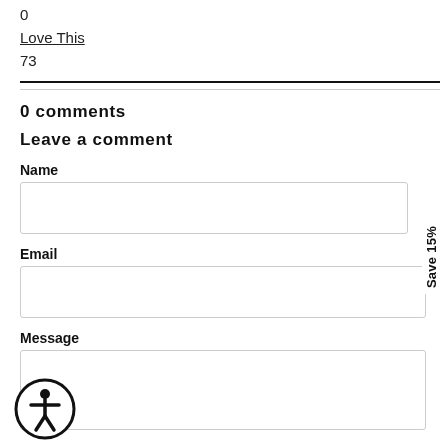0
Love This
73
0 comments
Leave a comment
Name
Email
Message
Save 15%
[Figure (illustration): Accessibility icon: person in circle with arms and legs spread, black border circle]